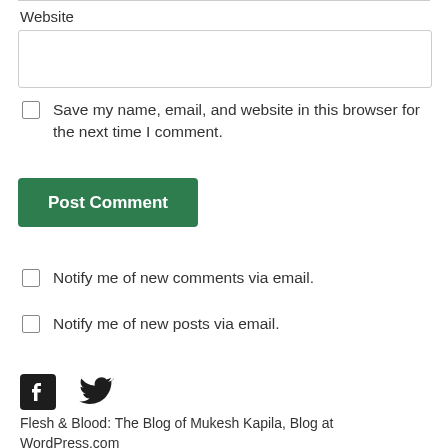Website
Save my name, email, and website in this browser for the next time I comment.
Post Comment
Notify me of new comments via email.
Notify me of new posts via email.
[Figure (illustration): Facebook and Twitter social media icons]
Flesh & Blood: The Blog of Mukesh Kapila, Blog at WordPress.com